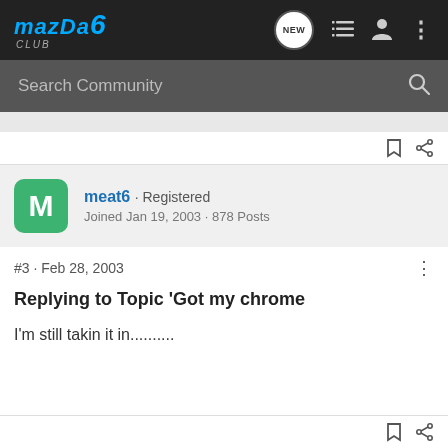Mazda 6 Club — navigation bar with logo, new posts, list, user, and menu icons
Search Community
meat6 · Registered
Joined Jan 19, 2003 · 878 Posts
#3 · Feb 28, 2003
Replying to Topic 'Got my chrome
I'm still takin it in..........